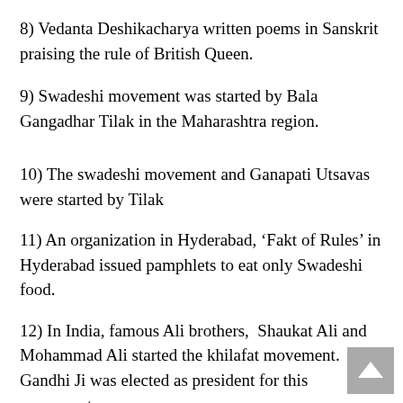8) Vedanta Deshikacharya written poems in Sanskrit praising the rule of British Queen.
9) Swadeshi movement was started by Bala Gangadhar Tilak in the Maharashtra region.
10) The swadeshi movement and Ganapati Utsavas were started by Tilak
11) An organization in Hyderabad, ‘Fakt of Rules’ in Hyderabad issued pamphlets to eat only Swadeshi food.
12) In India, famous Ali brothers, Shaukat Ali and Mohammad Ali started the khilafat movement. Gandhi Ji was elected as president for this movement.